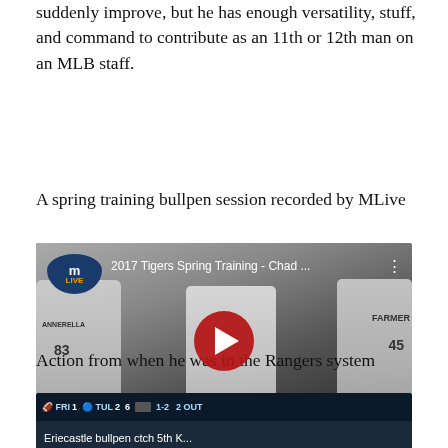suddenly improve, but he has enough versatility, stuff, and command to contribute as an 11th or 12th man on an MLB staff.
A spring training bullpen session recorded by MLive
[Figure (screenshot): YouTube video thumbnail showing 2017 Tigers Spring Training - Chad... with MLive logo, players in Detroit Tigers uniforms numbered 83 (ANNERELLA) and 45 (FARMER), with a red play button in the center]
Action from when he was in the Rangers system
[Figure (screenshot): Partially visible second video thumbnail showing a baseball scoreboard with FRI 1, TUL 2, 6, 1-2, 2 OUT and partial caption text]